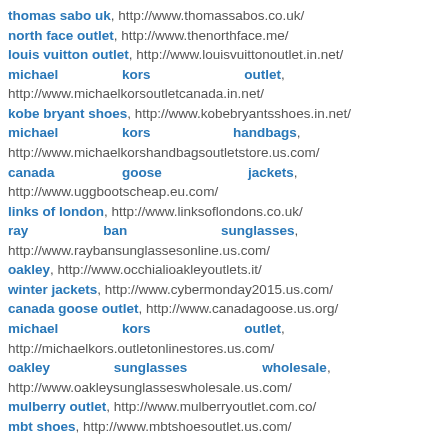thomas sabo uk, http://www.thomassabos.co.uk/
north face outlet, http://www.thenorthface.me/
louis vuitton outlet, http://www.louisvuittonoutlet.in.net/
michael kors outlet, http://www.michaelkorsoutletcanada.in.net/
kobe bryant shoes, http://www.kobebryantsshoes.in.net/
michael kors handbags, http://www.michaelkorshandbagsoutletstore.us.com/
canada goose jackets, http://www.uggbootscheap.eu.com/
links of london, http://www.linksoflondons.co.uk/
ray ban sunglasses, http://www.raybansunglassesonline.us.com/
oakley, http://www.occhialioakleyoutlets.it/
winter jackets, http://www.cybermonday2015.us.com/
canada goose outlet, http://www.canadagoose.us.org/
michael kors outlet, http://michaelkors.outletonlinestores.us.com/
oakley sunglasses wholesale, http://www.oakleysunglasseswholesale.us.com/
mulberry outlet, http://www.mulberryoutlet.com.co/
mbt shoes, http://www.mbtshoesoutlet.us.com/